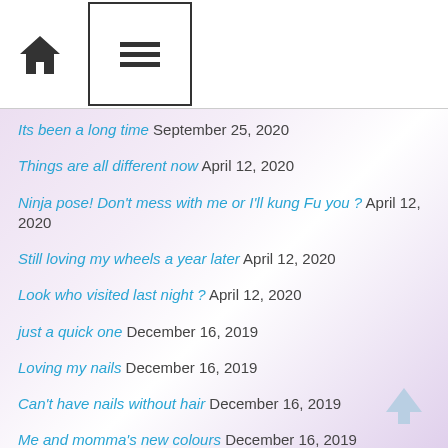Home | Menu
Its been a long time September 25, 2020
Things are all different now April 12, 2020
Ninja pose! Don't mess with me or I'll kung Fu you ? April 12, 2020
Still loving my wheels a year later April 12, 2020
Look who visited last night ? April 12, 2020
just a quick one December 16, 2019
Loving my nails December 16, 2019
Can't have nails without hair December 16, 2019
Me and momma's new colours December 16, 2019